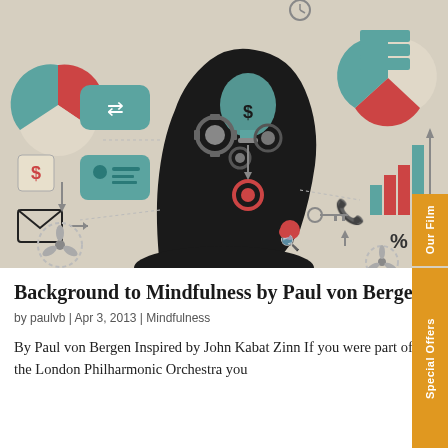[Figure (infographic): Illustration of a human head silhouette in dark color filled with gears, a lightbulb with a dollar sign, and various business/finance icons (arrows, charts, email, phone, ID card, pie charts, bar charts, percentage signs) on a beige background. Two orange vertical sidebar tabs read 'Our Film' and 'Special Offers'.]
Background to Mindfulness by Paul von Bergen
by paulvb | Apr 3, 2013 | Mindfulness
By Paul von Bergen Inspired by John Kabat Zinn If you were part of the London Philharmonic Orchestra you